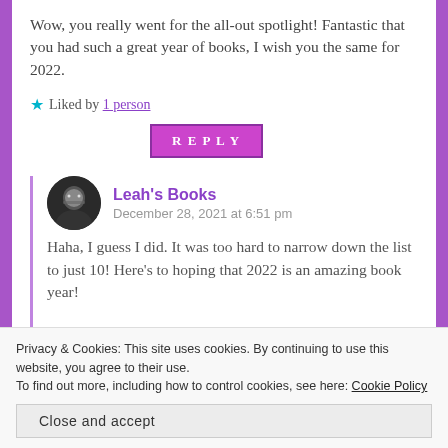Wow, you really went for the all-out spotlight! Fantastic that you had such a great year of books, I wish you the same for 2022.
Liked by 1 person
REPLY
Leah's Books
December 28, 2021 at 6:51 pm
Haha, I guess I did. It was too hard to narrow down the list to just 10! Here's to hoping that 2022 is an amazing book year!
Privacy & Cookies: This site uses cookies. By continuing to use this website, you agree to their use.
To find out more, including how to control cookies, see here: Cookie Policy
Close and accept